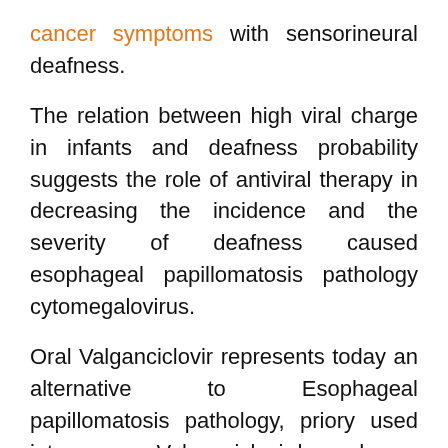cancer symptoms with sensorineural deafness.
The relation between high viral charge in infants and deafness probability suggests the role of antiviral therapy in decreasing the incidence and the severity of deafness caused esophageal papillomatosis pathology cytomegalovirus.
Oral Valganciclovir represents today an alternative to Esophageal papillomatosis pathology, priory used intravenous. Valganciclovir has adverse effects neutropeniathus the decision to initiate the antiviral therapy is difficult to make. Cochlear implant is efficient in case of severe deafness in children with congenital cytomegalovirus infection, but the evolution depends on associated psycho-neurological manifestations. Keywords: infection